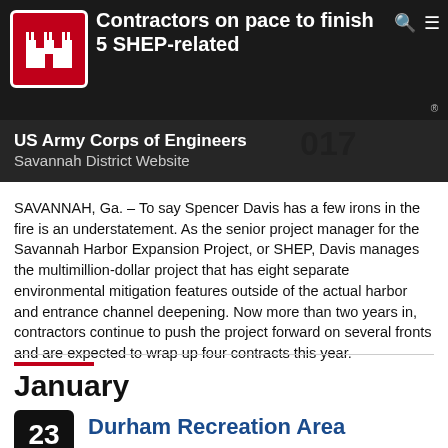Contractors on pace to finish 5 SHEP-related
[Figure (logo): US Army Corps of Engineers castle logo on red background]
US Army Corps of Engineers Savannah District Website
SAVANNAH, Ga. – To say Spencer Davis has a few irons in the fire is an understatement. As the senior project manager for the Savannah Harbor Expansion Project, or SHEP, Davis manages the multimillion-dollar project that has eight separate environmental mitigation features outside of the actual harbor and entrance channel deepening. Now more than two years in, contractors continue to push the project forward on several fronts and are expected to wrap up four contracts this year.
January
Durham Recreation Area